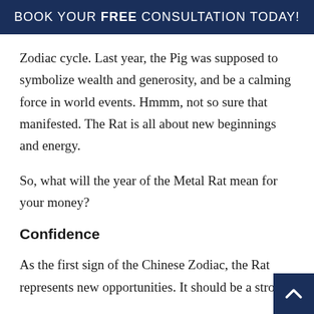BOOK YOUR FREE CONSULTATION TODAY!
Zodiac cycle. Last year, the Pig was supposed to symbolize wealth and generosity, and be a calming force in world events. Hmmm, not so sure that manifested. The Rat is all about new beginnings and energy.
So, what will the year of the Metal Rat mean for your money?
Confidence
As the first sign of the Chinese Zodiac, the Rat represents new opportunities. It should be a strong